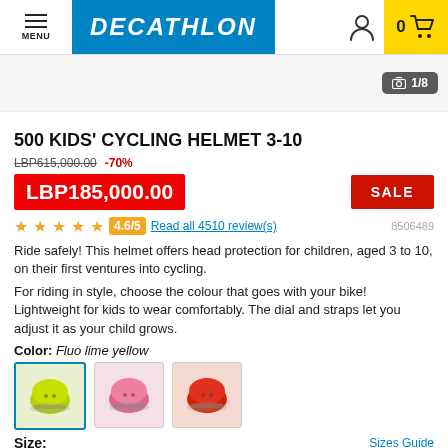MENU | DECATHLON | 0 (cart)
[Figure (screenshot): Product image placeholder showing 1/8 counter]
500 KIDS' CYCLING HELMET 3-10
LBP615,000.00 -70%
LBP185,000.00 SALE
4.6/5 Read all 4510 review(s) 8506489
Ride safely! This helmet offers head protection for children, aged 3 to 10, on their first ventures into cycling.
For riding in style, choose the colour that goes with your bike! Lightweight for kids to wear comfortably. The dial and straps let you adjust it as your child grows.
Color: Fluo lime yellow
[Figure (photo): Three helmet color swatches: yellow-green (selected), pink, red]
Size:
Sizes Guide